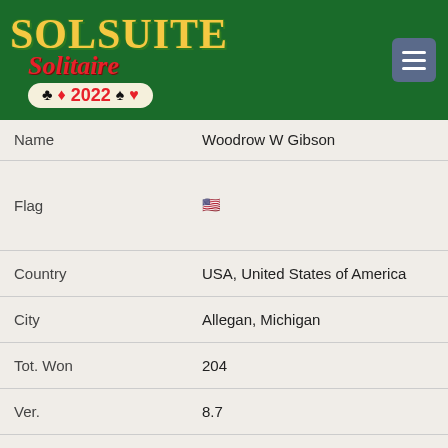[Figure (logo): SolSuite Solitaire 2022 logo on green background with menu button]
| Name | Woodrow W Gibson |
| Flag | 🇺🇸 |
| Country | USA, United States of America |
| City | Allegan, Michigan |
| Tot. Won | 204 |
| Ver. | 8.7 |